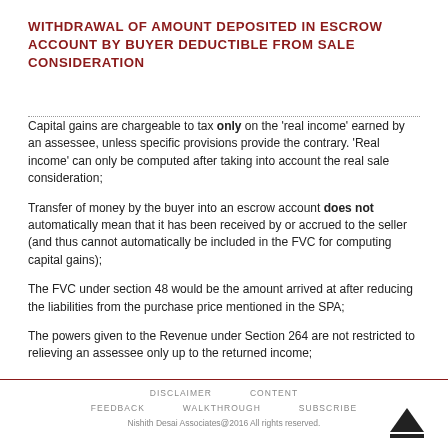WITHDRAWAL OF AMOUNT DEPOSITED IN ESCROW ACCOUNT BY BUYER DEDUCTIBLE FROM SALE CONSIDERATION
Capital gains are chargeable to tax only on the ‘real income’ earned by an assessee, unless specific provisions provide the contrary. ‘Real income’ can only be computed after taking into account the real sale consideration;
Transfer of money by the buyer into an escrow account does not automatically mean that it has been received by or accrued to the seller (and thus cannot automatically be included in the FVC for computing capital gains);
The FVC under section 48 would be the amount arrived at after reducing the liabilities from the purchase price mentioned in the SPA;
The powers given to the Revenue under Section 264 are not restricted to relieving an assessee only up to the returned income;
It is the obligation of the Revenue to tax an assessee on the income chargeable to tax under the ITA and if higher income is offered to tax, then it is the duty of the Revenue to compute the correct income and grant the refund of taxes erroneously paid by an assessee.
DISCLAIMER   CONTENT   FEEDBACK   WALKTHROUGH   SUBSCRIBE
Nishith Desai Associates@2016 All rights reserved.